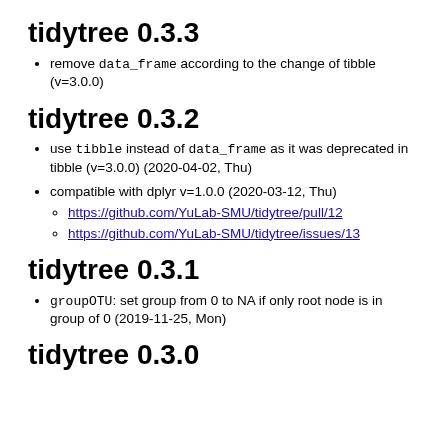tidytree 0.3.3
remove data_frame according to the change of tibble (v=3.0.0)
tidytree 0.3.2
use tibble instead of data_frame as it was deprecated in tibble (v=3.0.0) (2020-04-02, Thu)
compatible with dplyr v=1.0.0 (2020-03-12, Thu)
https://github.com/YuLab-SMU/tidytree/pull/12
https://github.com/YuLab-SMU/tidytree/issues/13
tidytree 0.3.1
groupOTU: set group from 0 to NA if only root node is in group of 0 (2019-11-25, Mon)
tidytree 0.3.0